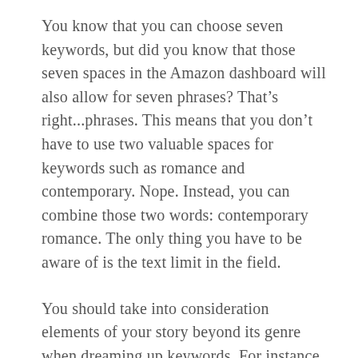You know that you can choose seven keywords, but did you know that those seven spaces in the Amazon dashboard will also allow for seven phrases? That’s right...phrases. This means that you don’t have to use two valuable spaces for keywords such as romance and contemporary. Nope. Instead, you can combine those two words: contemporary romance. The only thing you have to be aware of is the text limit in the field.
You should take into consideration elements of your story beyond its genre when dreaming up keywords. For instance, look at this example below: